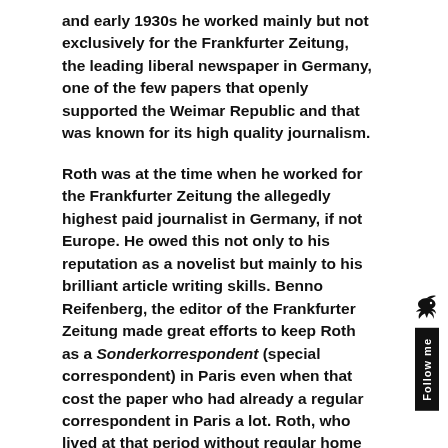and early 1930s he worked mainly but not exclusively for the Frankfurter Zeitung, the leading liberal newspaper in Germany, one of the few papers that openly supported the Weimar Republic and that was known for its high quality journalism.
Roth was at the time when he worked for the Frankfurter Zeitung the allegedly highest paid journalist in Germany, if not Europe. He owed this not only to his reputation as a novelist but mainly to his brilliant article writing skills. Benno Reifenberg, the editor of the Frankfurter Zeitung made great efforts to keep Roth as a Sonderkorrespondent (special correspondent) in Paris even when that cost the paper who had already a regular correspondent in Paris a lot. Roth, who lived at that period without regular home in the best hotels earned plenty of money, but he spent it also immediately.
[Figure (illustration): A small bird icon above a vertical black 'Follow me' tab on the right side of the page]